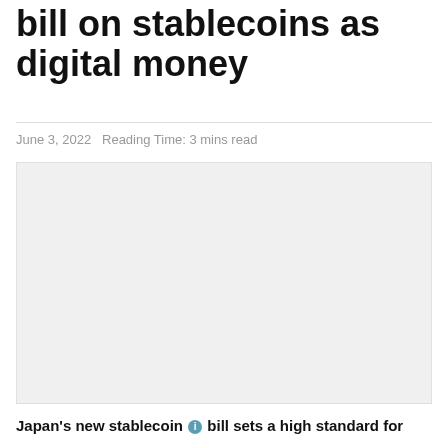bill on stablecoins as digital money
June 3, 2022   Reading Time: 3 mins read
[Figure (photo): Placeholder image for article about Japan stablecoin bill, light gray background]
Japan's new stablecoin bill sets a high standard for